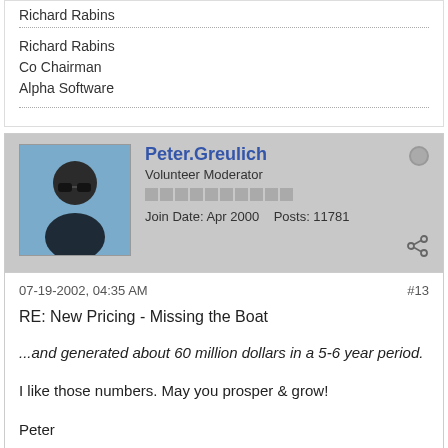Richard Rabins
Co Chairman
Alpha Software
Peter.Greulich
Volunteer Moderator
Join Date: Apr 2000   Posts: 11781
07-19-2002, 04:35 AM
#13
RE: New Pricing - Missing the Boat
...and generated about 60 million dollars in a 5-6 year period.
I like those numbers. May you prosper & grow!
Peter
Peter
AlphaBase Solutions, LLC